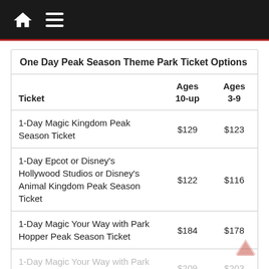Navigation bar with home and menu icons
| Ticket | Ages 10-up | Ages 3-9 |
| --- | --- | --- |
| 1-Day Magic Kingdom Peak Season Ticket | $129 | $123 |
| 1-Day Epcot or Disney's Hollywood Studios or Disney's Animal Kingdom Peak Season Ticket | $122 | $116 |
| 1-Day Magic Your Way with Park Hopper Peak Season Ticket | $184 | $178 |
| 1-Day Magic Your Way with Park Hopper Plus Peak Season Ticket | $209 | $203 |